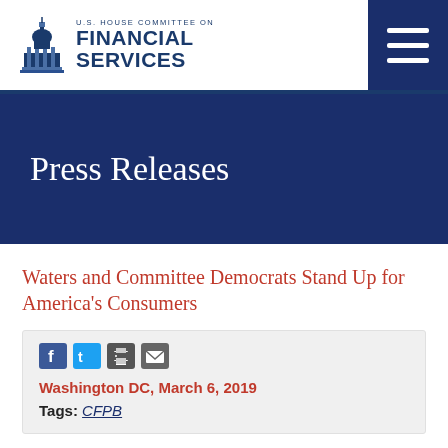U.S. House Committee on Financial Services
Press Releases
Waters and Committee Democrats Stand Up for America’s Consumers
Washington DC, March 6, 2019 | Tags: CFPB
Today, Congresswoman Maxine Waters (D-